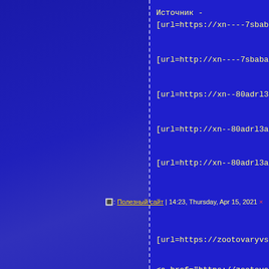Источник - [url=https://xn----7sbaba3a4bm...
[url=http://xn----7sbaba3a4bmi...
[url=https://xn--80adrl3a.xn--p...
[url=http://xn--80adrl3a.xn--p1...
[url=http://xn--80adrl3a.xn--p1...
🔳: Полезный сайт | 14:23, Thursday, Apr 15, 2021 ×
[url=https://zootovaryvsems.sit...
<a href="https://zootovaryvsen...